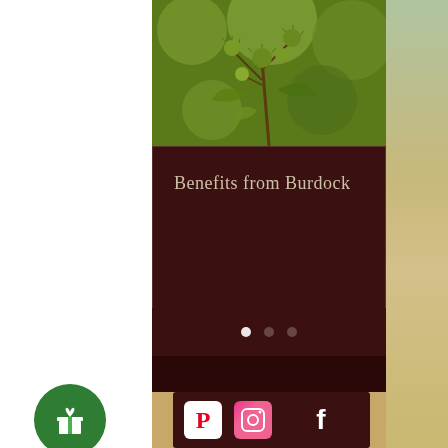[Figure (photo): Burdock plant with spiky green burrs and leaves, close-up nature photo with green bokeh background]
Benefits from Burdock
[Figure (infographic): Three pagination dots: one white (active) and two dark (inactive)]
[Figure (infographic): Social media icons row: Pinterest (white background with red P), Instagram (gradient background with camera icon), Facebook (white F on dark background)]
[Figure (infographic): Green circular gift/reward button with gift box icon]